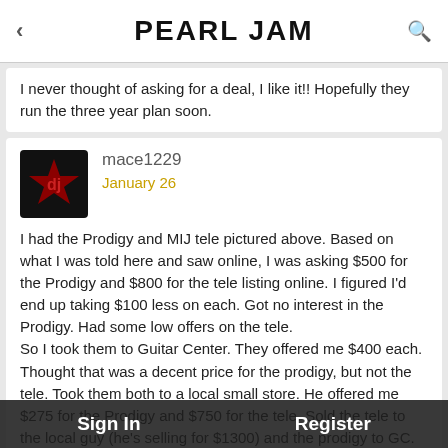PEARL JAM
I never thought of asking for a deal, I like it!! Hopefully they run the three year plan soon.
mace1229
January 26
I had the Prodigy and MIJ tele pictured above. Based on what I was told here and saw online, I was asking $500 for the Prodigy and $800 for the tele listing online. I figured I'd end up taking $100 less on each. Got no interest in the Prodigy. Had some low offers on the tele.
So I took them to Guitar Center. They offered me $400 each. Thought that was a decent price for the prodigy, but not the tele. Took them both to a local small store. He offered me $275 for the Prodigy and $750 for the tele. Sold the tele to the local guy (he's selling for $1300) and the prodigy to GC.
Sharing because I hadn't even considered checking out music stores, thinking I'd get way low-balled. But ended up working out. Had I known they would sell the tele for... probably
Sign In    Register